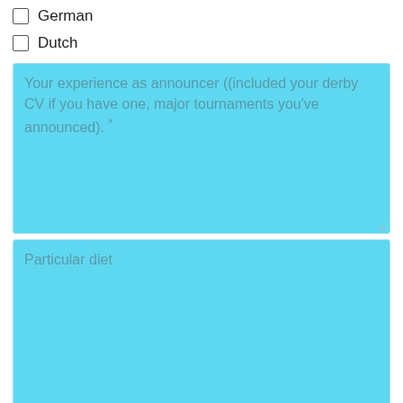German
Dutch
Your experience as announcer ((included your derby CV if you have one, major tournaments you've announced). *
Particular diet